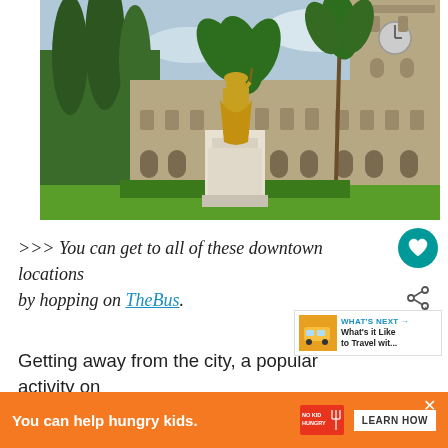[Figure (photo): Photograph of King Kamehameha statue in front of a large stone colonial-era building (Ali'iolani Hale) in downtown Honolulu, Hawaii. The golden statue stands on a white pedestal, flanked by palm trees. The building has arched windows and a clock tower.]
>>> You can get to all of these downtown locations by hopping on TheBus.
Getting away from the city, a popular activity on O...
You can help hungry kids.